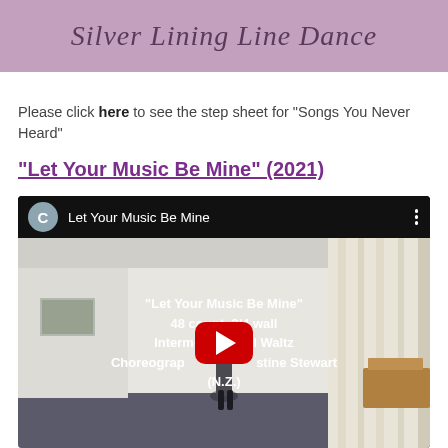Silver Lining Line Dance
Please click here to see the step sheet for "Songs You Never Heard"
"Let Your Music Be Mine" (2021)
[Figure (screenshot): YouTube video embed showing 'Let Your Music Be Mine' line dance video with overlay text: '"Let Your Music Be Mine" 48 count, 2/4 wall Intermediate level Waltz Choreographed by Christine Stewart (N.Z.)' and a YouTube play button.]